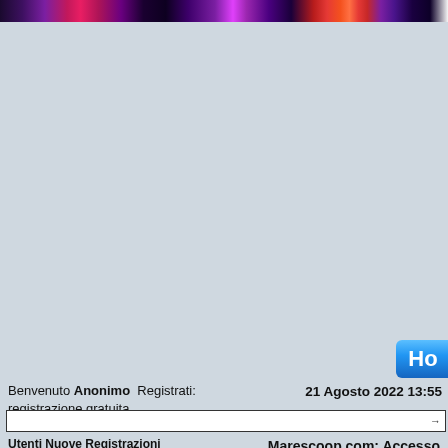[Figure (photo): Narrow horizontal banner strip at top showing a colorful space/nebula image with purples, pinks, reds, and stars on a dark background]
Benvenuto Anonimo  Registrati: registrazione gratuita
21 Agosto 2022 13:55
Utenti Nuove Registrazioni
Marescoop.com: Accesso Limitato
Bonvenuto  Anonimo